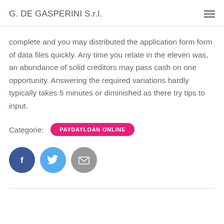G. DE GASPERINI S.r.l.
complete and you may distributed the application form form of data files quickly. Any time you relate in the eleven was, an abundance of solid creditors may pass cash on one opportunity. Answering the required variations hardly typically takes 5 minutes or diminished as there try tips to input.
Categorie: PAYDAYLOAN ONLINE
[Figure (other): Social share buttons: Facebook (blue circle with f icon), Twitter (light blue circle with bird icon), Email (gray circle with envelope icon)]